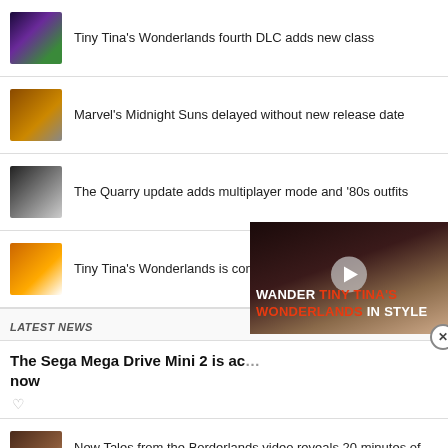Tiny Tina's Wonderlands fourth DLC adds new class
Marvel's Midnight Suns delayed without new release date
The Quarry update adds multiplayer mode and '80s outfits
Tiny Tina's Wonderlands is coming to Steam on June 23rd
LATEST NEWS
The Sega Mega Drive Mini 2 is ac... now
[Figure (screenshot): Video overlay showing 'WANDER TINY TINA'S WONDERLANDS IN STYLE' with a play button and close button, overlaid on a character image]
New Tales from the Borderlands video reveals 20 minutes of gameplay